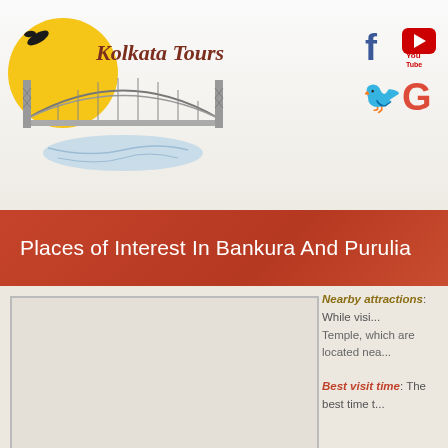Kolkata Tours
[Figure (logo): Kolkata Tours logo with Howrah Bridge illustration and yellow circle with bird silhouette]
[Figure (infographic): Social media icons: Facebook, YouTube, Twitter, Google+]
Places of Interest In Bankura And Purulia
[Figure (photo): Image placeholder in left column]
Nearby attractions: While visi... Temple, which are located nea...
Best visit time: The best time t...